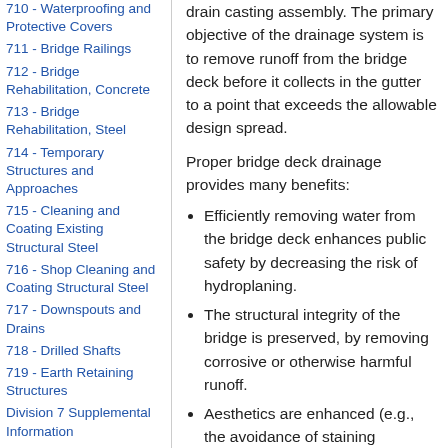710 - Waterproofing and Protective Covers
711 - Bridge Railings
712 - Bridge Rehabilitation, Concrete
713 - Bridge Rehabilitation, Steel
714 - Temporary Structures and Approaches
715 - Cleaning and Coating Existing Structural Steel
716 - Shop Cleaning and Coating Structural Steel
717 - Downspouts and Drains
718 - Drilled Shafts
719 - Earth Retaining Structures
Division 7 Supplemental Information
Division 8 - Incidental Construction
801 - Concrete Drains
drain casting assembly. The primary objective of the drainage system is to remove runoff from the bridge deck before it collects in the gutter to a point that exceeds the allowable design spread.
Proper bridge deck drainage provides many benefits:
Efficiently removing water from the bridge deck enhances public safety by decreasing the risk of hydroplaning.
The structural integrity of the bridge is preserved, by removing corrosive or otherwise harmful runoff.
Aesthetics are enhanced (e.g., the avoidance of staining substructure and superstructure members).
Erosion on the bridge abutment slopes is reduced.